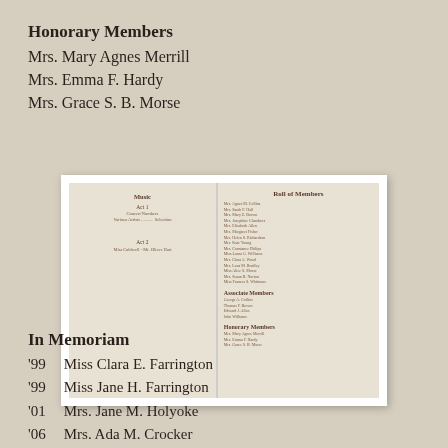Honorary Members
Mrs. Mary Agnes Merrill
Mrs. Emma F. Hardy
Mrs. Grace S. B. Morse
[Figure (photo): A scanned open book showing two pages: left page has 'Music' heading with Act 1 and Act 2 listings; right page has 'Roll of Members' with lists under Active Members, Associate Members, and Honorary Members sections]
In Memoriam
'99  Miss Clara E. Farrington
'99  Miss Jane H. Farrington
'01  Mrs. Jane M. Holyoke
'06  Mrs. Ada M. Crocker